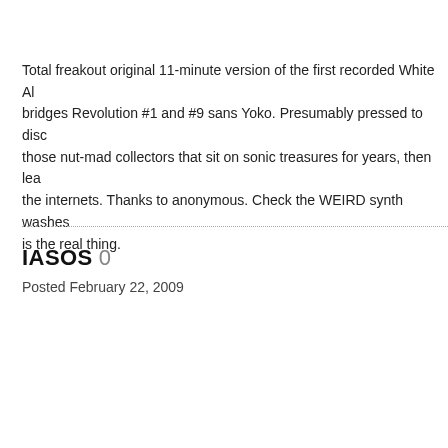Total freakout original 11-minute version of the first recorded White Al... bridges Revolution #1 and #9 sans Yoko. Presumably pressed to disc... those nut-mad collectors that sit on sonic treasures for years, then lea... the internets. Thanks to anonymous. Check the WEIRD synth washes... is the real thing.
IASOS 0
Posted February 22, 2009